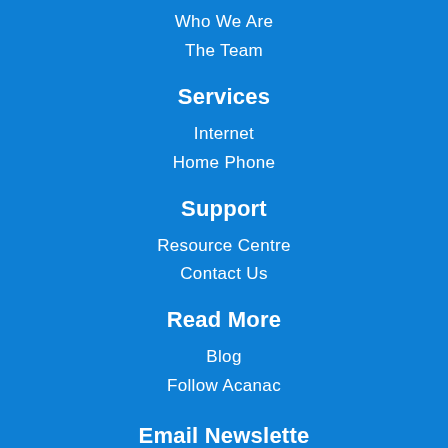Who We Are
The Team
Services
Internet
Home Phone
Support
Resource Centre
Contact Us
Read More
Blog
Follow Acanac
Email Newsletter